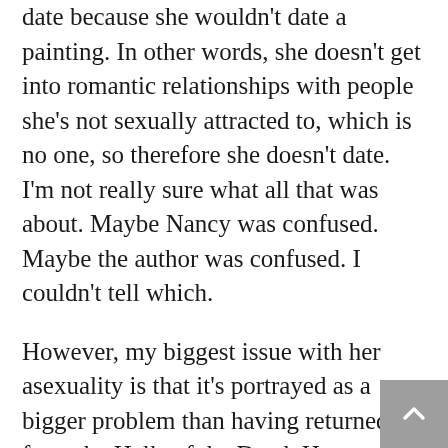date because she wouldn't date a painting. In other words, she doesn't get into romantic relationships with people she's not sexually attracted to, which is no one, so therefore she doesn't date. I'm not really sure what all that was about. Maybe Nancy was confused. Maybe the author was confused. I couldn't tell which.
However, my biggest issue with her asexuality is that it's portrayed as a bigger problem than having returned from the Halls of the Dead. Her parents push her to date and she thinks it's inevitable in relationships that she'll be pressured into sex. Nancy was put into sexually awkward situations just to show her being uncomfortable, like her roommate wanting to know if Nancy wanted sex with someone, and if she could masturbate whilst Nancy was in the